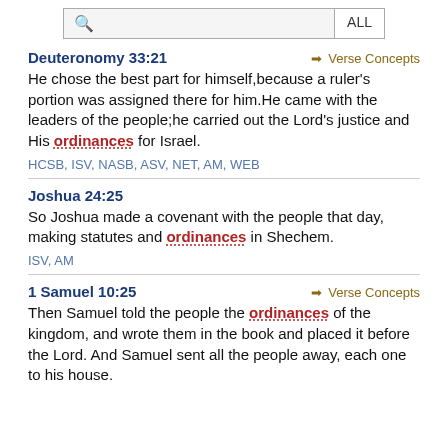[Figure (screenshot): Search bar with magnifying glass icon and ALL button]
Deuteronomy 33:21
He chose the best part for himself,because a ruler's portion was assigned there for him.He came with the leaders of the people;he carried out the Lord's justiceand His ordinances for Israel.
HCSB, ISV, NASB, ASV, NET, AM, WEB
Joshua 24:25
So Joshua made a covenant with the people that day, making statutes and ordinances in Shechem.
ISV, AM
1 Samuel 10:25
Then Samuel told the people the ordinances of the kingdom, and wrote them in the book and placed it before the Lord. And Samuel sent all the people away, each one to his house.